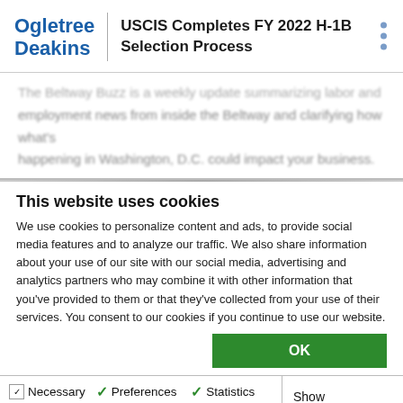Ogletree Deakins | USCIS Completes FY 2022 H-1B Selection Process
The Beltway Buzz is a weekly update summarizing labor and employment news from inside the Beltway and clarifying how what's happening in Washington, D.C. could impact your business.
This website uses cookies
We use cookies to personalize content and ads, to provide social media features and to analyze our traffic. We also share information about your use of our site with our social media, advertising and analytics partners who may combine it with other information that you've provided to them or that they've collected from your use of their services. You consent to our cookies if you continue to use our website.
OK
| Necessary | Preferences | Statistics | Show details |
| --- | --- | --- | --- |
| ✓ Necessary | ✓ Preferences | ✓ Statistics | Show details |
| ✓ Marketing |  |  |  |